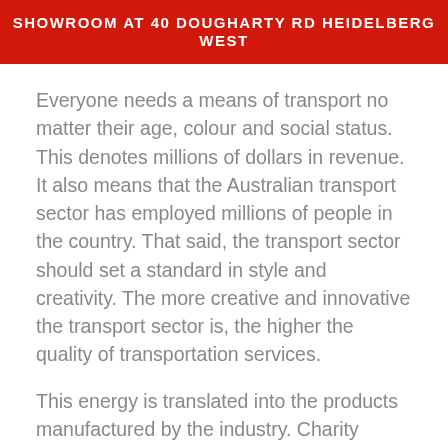SHOWROOM AT 40 DOUGHARTY RD HEIDELBERG WEST
Everyone needs a means of transport no matter their age, colour and social status. This denotes millions of dollars in revenue. It also means that the Australian transport sector has employed millions of people in the country. That said, the transport sector should set a standard in style and creativity. The more creative and innovative the transport sector is, the higher the quality of transportation services.
This energy is translated into the products manufactured by the industry. Charity begins at home and for the transportation and logistics sector, corporate artwork is a great place to start. Their workspaces should be decorated with relevant pieces of art. For example, modern vehicle images printed on